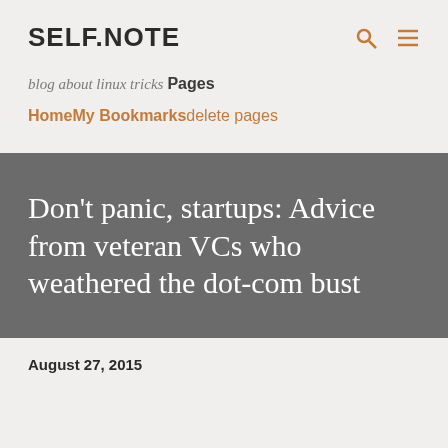SELF.NOTE
blog about linux tricks
Pages
Home
My Bookmarks
delete pages
Don't panic, startups: Advice from veteran VCs who weathered the dot-com bust
August 27, 2015